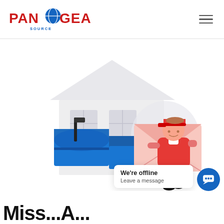PANGEA SOURCE
[Figure (illustration): Illustration of a mail carrier in red uniform placing a large envelope into a blue mailbox, with a house in the background. A chat bubble overlay reads 'We're offline / Leave a message' with a blue chat button.]
We're offline
Leave a message
Miss...A...